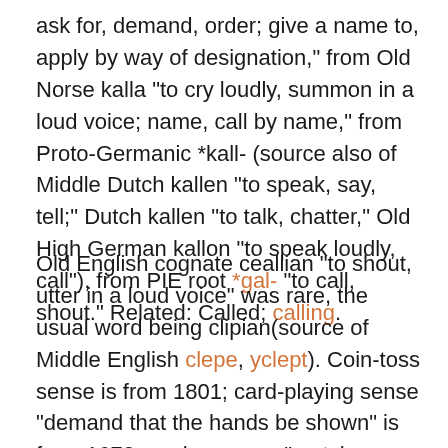ask for, demand, order; give a name to, apply by way of designation," from Old Norse kalla "to cry loudly, summon in a loud voice; name, call by name," from Proto-Germanic *kall- (source also of Middle Dutch kallen "to speak, say, tell;" Dutch kallen "to talk, chatter," Old High German kallon "to speak loudly, call"), from PIE root *gal- "to call, shout." Related: Called; calling.
Old English cognate ceallian "to shout, utter in a loud voice" was rare, the usual word being clipian(source of Middle English clepe, yclept). Coin-toss sense is from 1801; card-playing sense "demand that the hands be shown" is from 1670s; poker sense "match or raise a bet" is by 1889. Meaning "to make a short stop or visit"